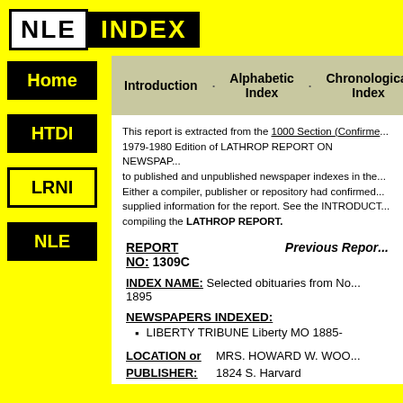NLE INDEX
Introduction · Alphabetic Index · Chronological Index
This report is extracted from the 1000 Section (Confirmed) 1979-1980 Edition of LATHROP REPORT ON NEWSPAPER INDEXES, a guide to published and unpublished newspaper indexes in the United States. Either a compiler, publisher or repository had confirmed the listing or supplied information for the report. See the INTRODUCTION for criteria for compiling the LATHROP REPORT.
REPORT NO: 1309C
Previous Report
INDEX NAME: Selected obituaries from No... 1895
NEWSPAPERS INDEXED:
LIBERTY TRIBUNE Liberty MO 1885-
LOCATION or PUBLISHER: MRS. HOWARD W. WOO... 1824 S. Harvard